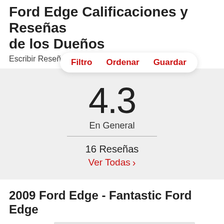Ford Edge Calificaciones y Reseñas de los Dueños
Escribir Reseña
Filtro   Ordenar   Guardar
4.3
En General
16 Reseñas
Ver Todas ›
2009 Ford Edge - Fantastic Ford Edge
[Figure (photo): Gray placeholder image block at bottom of page]